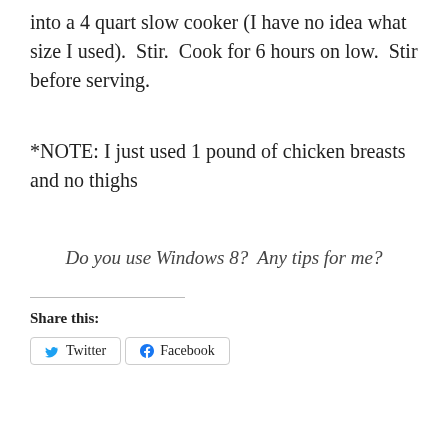into a 4 quart slow cooker (I have no idea what size I used).  Stir.  Cook for 6 hours on low.  Stir before serving.
*NOTE: I just used 1 pound of chicken breasts and no thighs
Do you use Windows 8?  Any tips for me?
Share this:
Twitter  Facebook